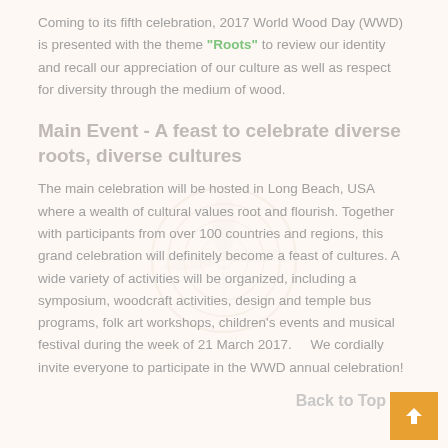Coming to its fifth celebration, 2017 World Wood Day (WWD) is presented with the theme "Roots" to review our identity and recall our appreciation of our culture as well as respect for diversity through the medium of wood.
Main Event - A feast to celebrate diverse roots, diverse cultures
The main celebration will be hosted in Long Beach, USA where a wealth of cultural values root and flourish. Together with participants from over 100 countries and regions, this grand celebration will definitely become a feast of cultures. A wide variety of activities will be organized, including a symposium, woodcraft activities, design and temple bus programs, folk art workshops, children's events and musical festival during the week of 21 March 2017. We cordially invite everyone to participate in the WWD annual celebration!